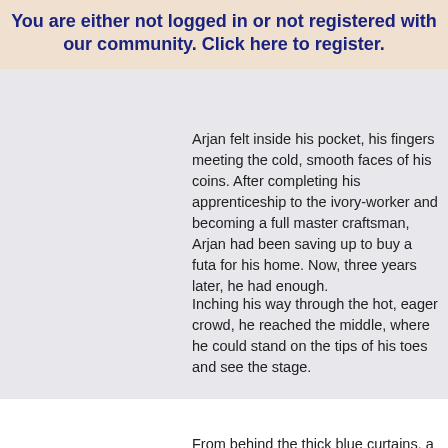You are either not logged in or not registered with our community. Click here to register.
Arjan felt inside his pocket, his fingers meeting the cold, smooth faces of his coins. After completing his apprenticeship to the ivory-worker and becoming a full master craftsman, Arjan had been saving up to buy a futa for his home. Now, three years later, he had enough.
Inching his way through the hot, eager crowd, he reached the middle, where he could stand on the tips of his toes and see the stage.
From behind the thick blue curtains, a woman leaped out onto the boards.